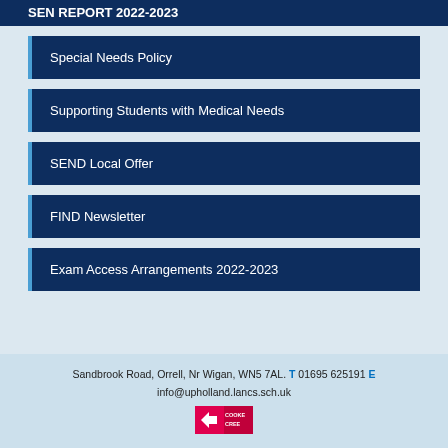SEN REPORT 2022-2023
Special Needs Policy
Supporting Students with Medical Needs
SEND Local Offer
FIND Newsletter
Exam Access Arrangements 2022-2023
Sandbrook Road, Orrell, Nr Wigan, WN5 7AL. T 01695 625191 E info@upholland.lancs.sch.uk